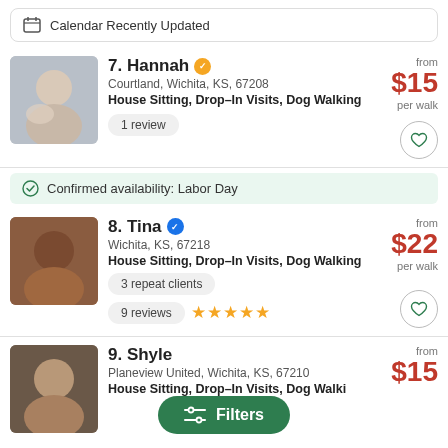Calendar Recently Updated
[Figure (photo): Hannah profile photo with dog]
7. Hannah
Courtland, Wichita, KS, 67208
House Sitting, Drop–In Visits, Dog Walking
1 review
from $15 per walk
Confirmed availability: Labor Day
[Figure (photo): Tina profile photo]
8. Tina
Wichita, KS, 67218
House Sitting, Drop–In Visits, Dog Walking
3 repeat clients
9 reviews ★★★★★
from $22 per walk
[Figure (photo): Shyler profile photo]
9. Shyler
Planeview United, Wichita, KS, 67210
House Sitting, Drop–In Visits, Dog Walking
from $15